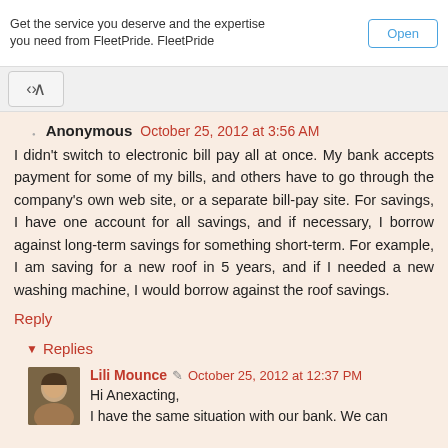Get the service you deserve and the expertise you need from FleetPride. FleetPride
Open
Anonymous October 25, 2012 at 3:56 AM
I didn't switch to electronic bill pay all at once. My bank accepts payment for some of my bills, and others have to go through the company's own web site, or a separate bill-pay site. For savings, I have one account for all savings, and if necessary, I borrow against long-term savings for something short-term. For example, I am saving for a new roof in 5 years, and if I needed a new washing machine, I would borrow against the roof savings.
Reply
Replies
Lili Mounce October 25, 2012 at 12:37 PM
Hi Anexacting,
I have the same situation with our bank. We can